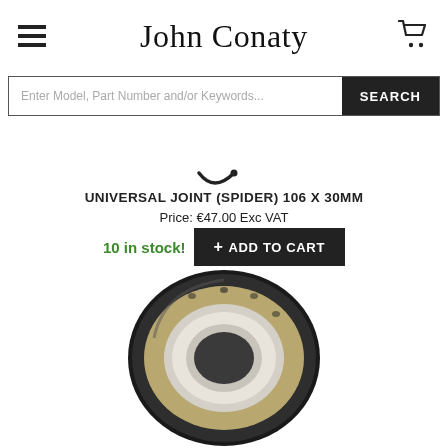John Conaty
Enter Model, Part Number and/or Keywords... SEARCH
[Figure (other): Loading spinner icon (partial curved arc suggesting a loading animation)]
UNIVERSAL JOINT (SPIDER) 106 X 30MM
Price: €47.00 Exc VAT
10 in stock!  + ADD TO CART
[Figure (photo): Photo of a tapered roller bearing / ring bearing – black outer ring with silver/chrome inner ring, circular shape, viewed from front]